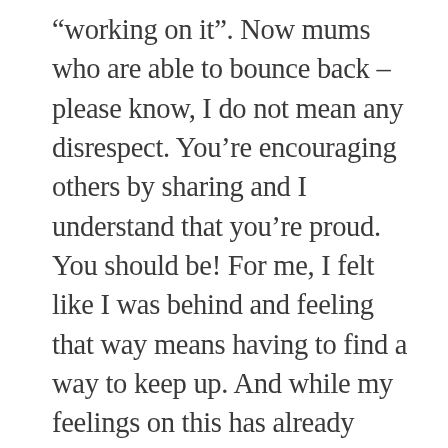“working on it”. Now mums who are able to bounce back – please know, I do not mean any disrespect. You’re encouraging others by sharing and I understand that you’re proud. You should be! For me, I felt like I was behind and feeling that way means having to find a way to keep up. And while my feelings on this has already subsided, everyone woman is going to have some kind of “feels” about this because we have our little deadly sins we don’t talk about (such as envy). It’s just the way we operate – we always think we have to be on to